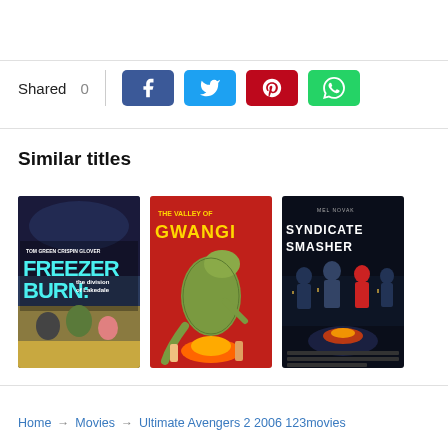Shared 0
[Figure (screenshot): Social share buttons: Facebook, Twitter, Pinterest, WhatsApp]
Similar titles
[Figure (illustration): Movie poster: Freezer Burn - The Invasion of Lakedale, featuring Tom Green and Crispin Glover]
[Figure (illustration): Movie poster: The Valley of Gwangi, featuring a dinosaur in red background]
[Figure (illustration): Movie poster: Syndicate Smasher, featuring action characters]
Home → Movies → Ultimate Avengers 2 2006 123movies